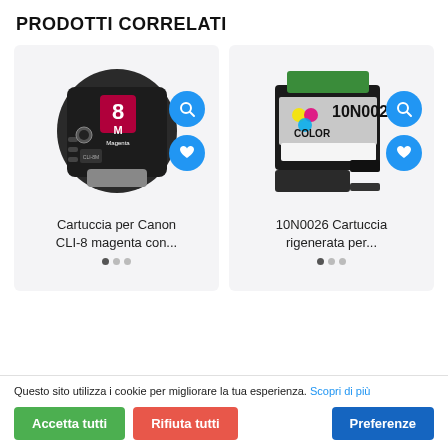PRODOTTI CORRELATI
[Figure (photo): Ink cartridge Canon CLI-8 magenta with blue search and heart buttons]
Cartuccia per Canon CLI-8 magenta con...
[Figure (photo): Ink cartridge 10N0026 color regenerated with blue search and heart buttons]
10N0026 Cartuccia rigenerata per...
Questo sito utilizza i cookie per migliorare la tua esperienza. Scopri di più
Accetta tutti
Rifiuta tutti
Preferenze